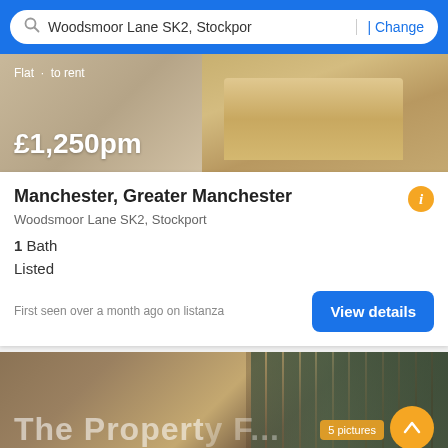Woodsmoor Lane SK2, Stockport | Change
[Figure (photo): Interior photo of a flat showing a sofa with beige/cream cushions, warm lighting, to rent listing]
Flat · to rent
£1,250pm
Manchester, Greater Manchester
Woodsmoor Lane SK2, Stockport
1 Bath
Listed
First seen over a month ago on listanza
[Figure (photo): Interior photo of a property with dark curtains/blinds, warm ambient lighting, wooden decor element, with The Property Floor watermark overlay]
5 pictures
Filter